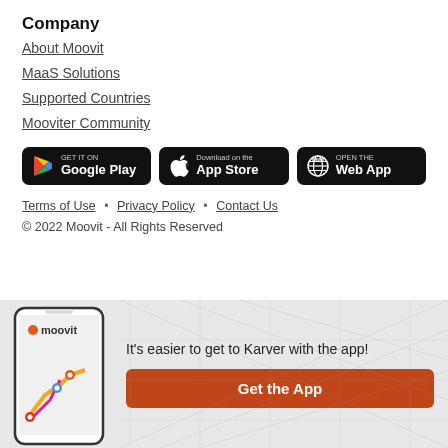Company
About Moovit
MaaS Solutions
Supported Countries
Mooviter Community
[Figure (other): Three app store buttons: GET IT ON Google Play, Download on the App Store, OPEN THE Web App]
Terms of Use · Privacy Policy · Contact Us
© 2022 Moovit - All Rights Reserved
[Figure (illustration): Bottom banner with Moovit app screenshot on phone and 'Get the App' button. Text: It's easier to get to Karver with the app!]